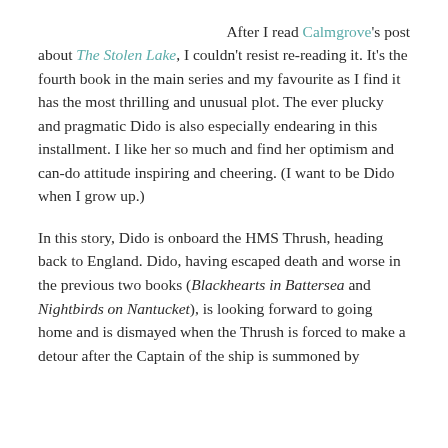After I read Calmgrove's post about The Stolen Lake, I couldn't resist re-reading it. It's the fourth book in the main series and my favourite as I find it has the most thrilling and unusual plot. The ever plucky and pragmatic Dido is also especially endearing in this installment. I like her so much and find her optimism and can-do attitude inspiring and cheering. (I want to be Dido when I grow up.)

In this story, Dido is onboard the HMS Thrush, heading back to England. Dido, having escaped death and worse in the previous two books (Blackhearts in Battersea and Nightbirds on Nantucket), is looking forward to going home and is dismayed when the Thrush is forced to make a detour after the Captain of the ship is summoned by